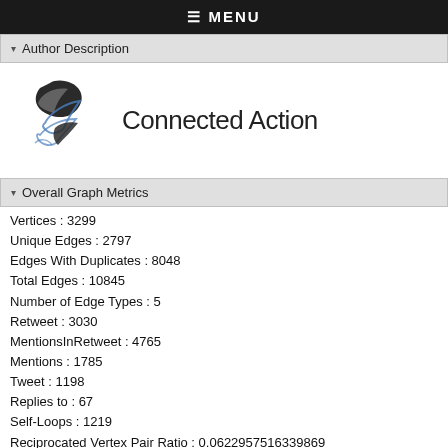≡ MENU
▾ Author Description
[Figure (logo): Connected Action logo with stylized bird/quill graphic and text 'Connected Action']
▾ Overall Graph Metrics
Vertices : 3299
Unique Edges : 2797
Edges With Duplicates : 8048
Total Edges : 10845
Number of Edge Types : 5
Retweet : 3030
MentionsInRetweet : 4765
Mentions : 1785
Tweet : 1198
Replies to : 67
Self-Loops : 1219
Reciprocated Vertex Pair Ratio : 0.0622957516339869
Reciprocated Edge Ratio : 0.117285137473563
Connected Components : 323